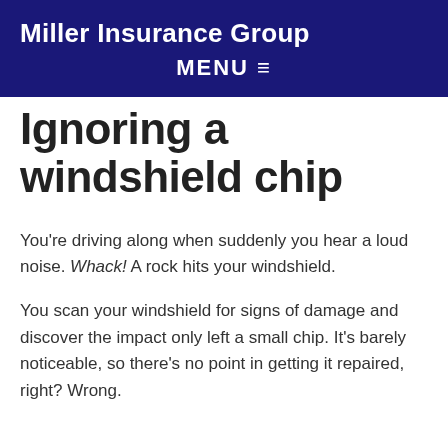Miller Insurance Group
MENU ≡
Ignoring a windshield chip
You're driving along when suddenly you hear a loud noise. Whack! A rock hits your windshield.
You scan your windshield for signs of damage and discover the impact only left a small chip. It's barely noticeable, so there's no point in getting it repaired, right? Wrong.